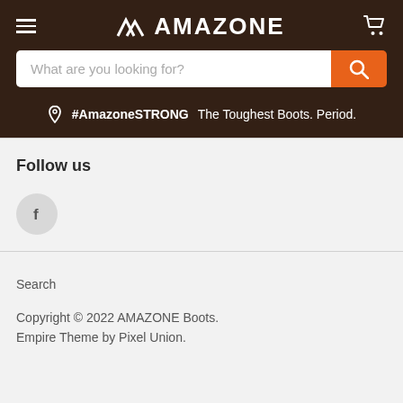AMAZONE
What are you looking for?
#AmazoneSTRONG  The Toughest Boots. Period.
Follow us
[Figure (logo): Facebook circular icon button]
Search
Copyright © 2022 AMAZONE Boots.
Empire Theme by Pixel Union.